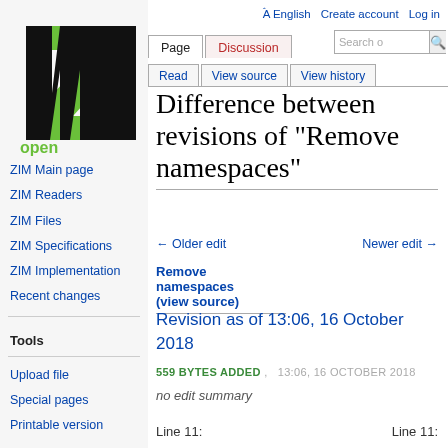English  Create account  Log in
[Figure (logo): OpenZIM logo — green and black stylized ZIM letters with 'open' text]
ZIM Main page
ZIM Readers
ZIM Files
ZIM Specifications
ZIM Implementation
Recent changes
Tools
Upload file
Special pages
Printable version
Difference between revisions of "Remove namespaces"
← Older edit
Newer edit →
Remove namespaces (view source)
Revision as of 13:06, 16 October 2018
559 BYTES ADDED ,  13:06, 16 OCTOBER 2018
no edit summary
Line 11:                   Line 11: